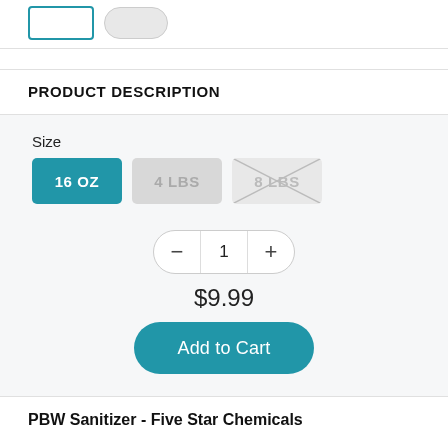[Figure (screenshot): Top bar with two button elements: a blue outlined rectangle button and a gray pill-shaped button]
PRODUCT DESCRIPTION
Size
Size options: 16 OZ (selected/active, blue), 4 LBS (inactive, gray), 8 LBS (disabled, crossed out)
Quantity control: minus, 1, plus
$9.99
Add to Cart
PBW Sanitizer - Five Star Chemicals